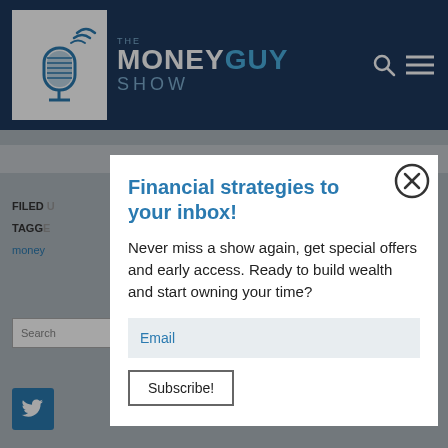[Figure (screenshot): The Money Guy Show website header with dark blue background, logo, and navigation icons]
Financial strategies to your inbox!
Never miss a show again, get special offers and early access. Ready to build wealth and start owning your time?
Email
Subscribe!